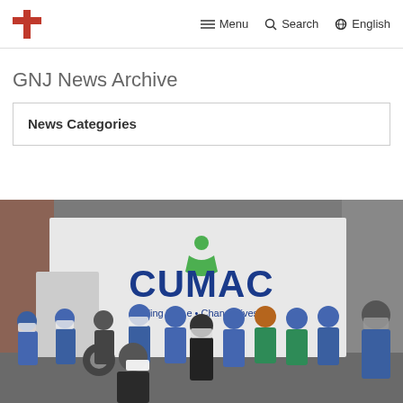Menu  Search  English
GNJ News Archive
News Categories
[Figure (photo): Group of volunteers wearing masks and blue CUMAC shirts standing in front of a white CUMAC delivery truck. The truck reads 'CUMAC' in large blue letters with a green figure logo, and 'Feeding People • Changing Lives' below. The scene is outdoors in an alley or loading area.]